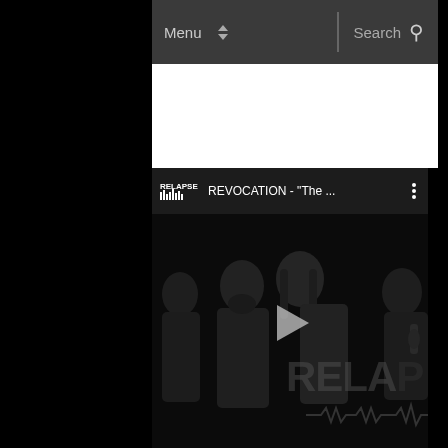Menu  Search
entitled “The Hive” is available for streaming below:
[Figure (screenshot): YouTube embedded video player showing a Relapse Records video titled REVOCATION - "The ..." with a dark band photo showing band members in black, a play button in the center, and RELAPS(E) watermark text at the bottom right.]